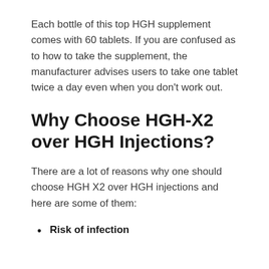Each bottle of this top HGH supplement comes with 60 tablets. If you are confused as to how to take the supplement, the manufacturer advises users to take one tablet twice a day even when you don’t work out.
Why Choose HGH-X2 over HGH Injections?
There are a lot of reasons why one should choose HGH X2 over HGH injections and here are some of them:
Risk of infection